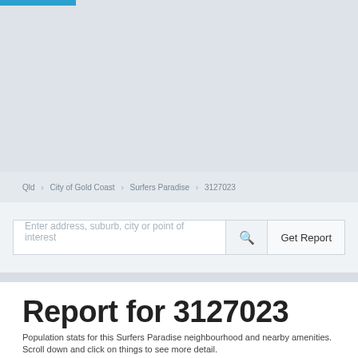[Figure (map): Map area showing a light grey geographic/street map for the Surfers Paradise area, with a blue accent bar at the top left.]
Qld > City of Gold Coast > Surfers Paradise > 3127023
Enter address, suburb, city or point of interest
Report for 3127023
Population stats for this Surfers Paradise neighbourhood and nearby amenities. Scroll down and click on things to see more detail.